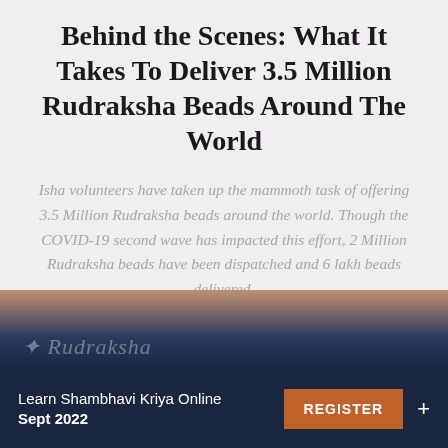Behind the Scenes: What It Takes To Deliver 3.5 Million Rudraksha Beads Around The World
Isha volunteers have taken up the mammoth task of offering 3.5 Million Rudraksha beads around the world. Though the COVID-19 second wave has impacted this effort, 2 Million Rudraksha beads have been dispatched and 6 lakh beads delivered.
[Figure (photo): Background image section showing a blurred photograph with warm brown to dark navy blue gradient, partially visible text overlay]
Learn Shambhavi Kriya Online Sept 2022 REGISTER